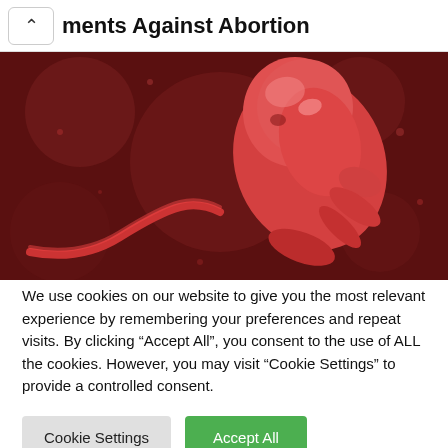ments Against Abortion
[Figure (illustration): 3D medical illustration of a human embryo/fetus, shown in reddish tones against a dark reddish-brown background, with umbilical cord visible]
We use cookies on our website to give you the most relevant experience by remembering your preferences and repeat visits. By clicking “Accept All”, you consent to the use of ALL the cookies. However, you may visit "Cookie Settings" to provide a controlled consent.
Cookie Settings | Accept All